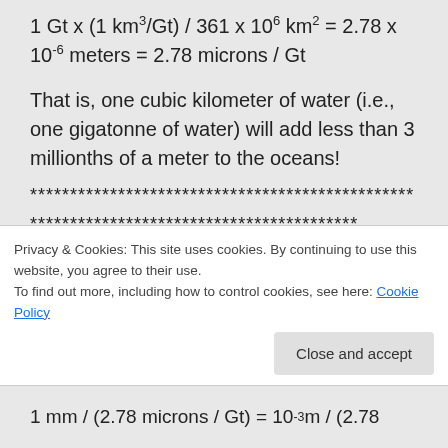1 Gt x (1 km³/Gt) / 361 x 106 km² = 2.78 x 10-6 meters = 2.78 microns / Gt
That is, one cubic kilometer of water (i.e., one gigatonne of water) will add less than 3 millionths of a meter to the oceans!
************************************************
*****************************************
How many gigatonnes of ice must melt to raise the oceans one millimeter (10-3
Privacy & Cookies: This site uses cookies. By continuing to use this website, you agree to their use.
To find out more, including how to control cookies, see here: Cookie Policy
Close and accept
1 mm / (2.78 microns / Gt) = 10-3 m / (2.78